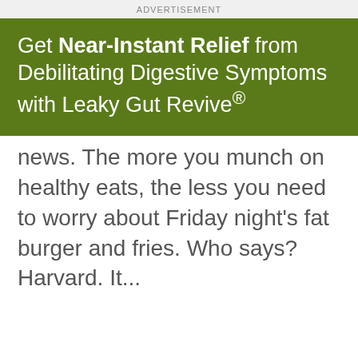ADVERTISEMENT
[Figure (other): Green advertisement banner for 'Leaky Gut Revive' product with text: Get Near-Instant Relief from Debilitating Digestive Symptoms with Leaky Gut Revive®]
news. The more you munch on healthy eats, the less you need to worry about Friday night's fat burger and fries. Who says? Harvard. It...